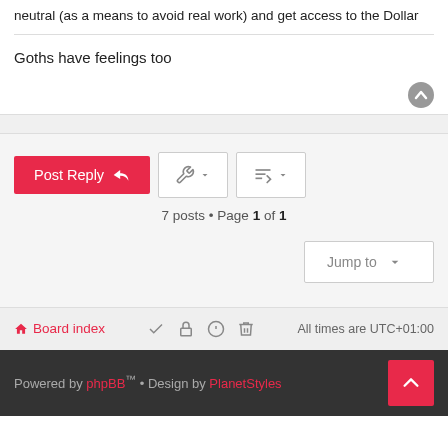neutral (as a means to avoid real work) and get access to the Dollar
Goths have feelings too
7 posts • Page 1 of 1
Board index   All times are UTC+01:00
Powered by phpBB™ • Design by PlanetStyles